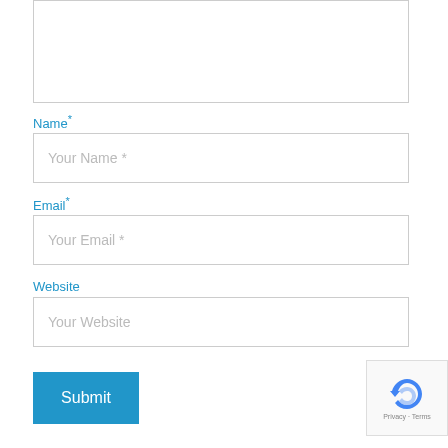[Figure (screenshot): Top portion of a text area input box (cut off at the top of the page)]
Name*
[Figure (screenshot): Text input field with placeholder 'Your Name *']
Email*
[Figure (screenshot): Text input field with placeholder 'Your Email *']
Website
[Figure (screenshot): Text input field with placeholder 'Your Website']
[Figure (screenshot): Blue Submit button and reCAPTCHA widget]